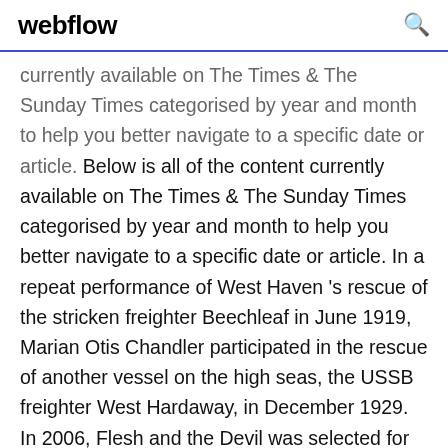webflow
currently available on The Times & The Sunday Times categorised by year and month to help you better navigate to a specific date or article. Below is all of the content currently available on The Times & The Sunday Times categorised by year and month to help you better navigate to a specific date or article. In a repeat performance of West Haven 's rescue of the stricken freighter Beechleaf in June 1919, Marian Otis Chandler participated in the rescue of another vessel on the high seas, the USSB freighter West Hardaway, in December 1929. In 2006, Flesh and the Devil was selected for preservation in the United States National Film Registry by the Library of Congress as being